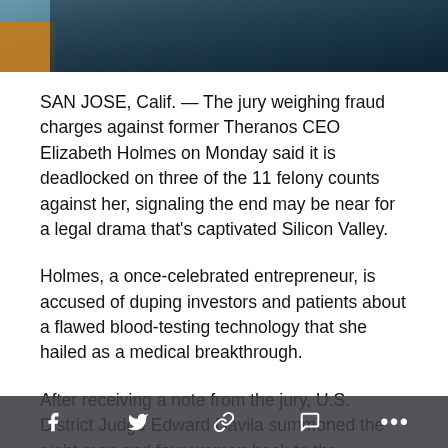[Figure (photo): Partial photo of a person, cropped at top of page, dark clothing visible against a blue-teal background with orange element at lower left]
SAN JOSE, Calif. — The jury weighing fraud charges against former Theranos CEO Elizabeth Holmes on Monday said it is deadlocked on three of the 11 felony counts against her, signaling the end may be near for a legal drama that's captivated Silicon Valley.
Holmes, a once-celebrated entrepreneur, is accused of duping investors and patients about a flawed blood-testing technology that she hailed as a medical breakthrough.
After receiving a note from the jury, U.S. District Judge Edward Davila summoned the eight men and four women back to the courtroom where Holmes' trial took place. He urged them to re-examine their positions while adhering to their instructions to only return a guilty verdict if